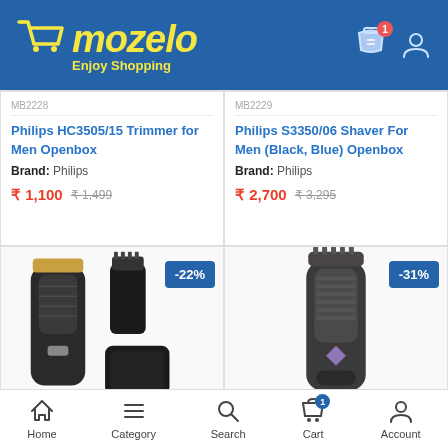[Figure (screenshot): Mozelo e-commerce app header with yellow cart logo, brand name 'mozelo' in italic yellow, tagline 'Enjoy Shopping', shopping bag icon with badge '1', and user account icon]
MB2228
MB2229
Philips HC3505/15 Trimmer for Men Openbox
Brand: Philips
₹ 1,100  ₹ 1,499
Philips S3350/06 Shaver For Men (Black, Blue) Openbox
Brand: Philips
₹ 2,700  ₹ 3,295
[Figure (photo): Philips hair trimmer with comb attachment and case, -22% discount badge]
[Figure (photo): Philips beard trimmer in dark grey/black, -31% discount badge]
Home  Category  Search  Cart  Account